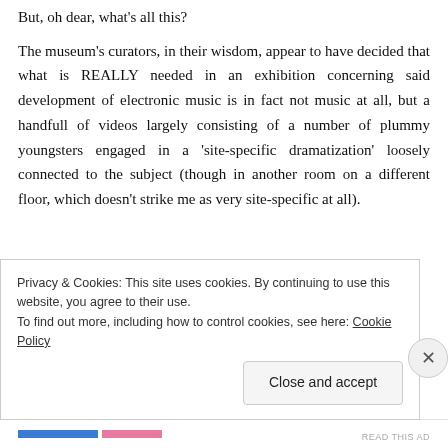But, oh dear, what's all this?
The museum's curators, in their wisdom, appear to have decided that what is REALLY needed in an exhibition concerning said development of electronic music is in fact not music at all, but a handfull of videos largely consisting of a number of plummy youngsters engaged in a 'site-specific dramatization' loosely connected to the subject (though in another room on a different floor, which doesn't strike me as very site-specific at all).
Privacy & Cookies: This site uses cookies. By continuing to use this website, you agree to their use.
To find out more, including how to control cookies, see here: Cookie Policy